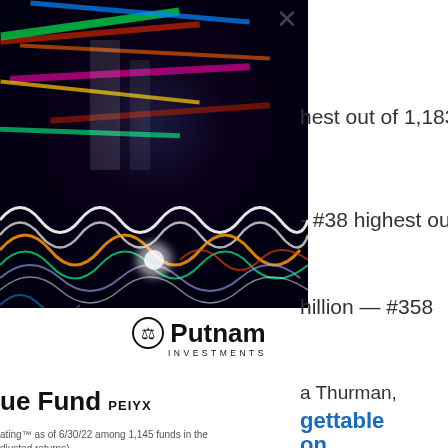[Figure (photo): Abstract colorful light streaks and neon wave patterns on dark background, with DNA-like wave structures at the bottom]
hest out of 1,183
- #38 highest out
hillion — #358
[Figure (logo): Putnam Investments logo with scales of justice icon]
a Thurman,
ue Fund PEIYX
gettable
on
ating™ as of 6/30/22 among 1,145 funds in the djusted returns).